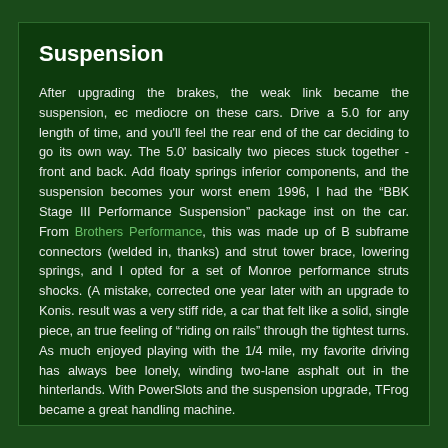Suspension
After upgrading the brakes, the weak link became the suspension, ec mediocre on these cars. Drive a 5.0 for any length of time, and you'll feel the rear end of the car deciding to go its own way. The 5.0' basically two pieces stuck together - front and back. Add floaty springs inferior components, and the suspension becomes your worst enem 1996, I had the “BBK Stage III Performance Suspension” package inst on the car. From Brothers Performance, this was made up of B subframe connectors (welded in, thanks) and strut tower brace, lowering springs, and I opted for a set of Monroe performance struts shocks. (A mistake, corrected one year later with an upgrade to Konis. result was a very stiff ride, a car that felt like a solid, single piece, an true feeling of “riding on rails” through the tightest turns. As much enjoyed playing with the 1/4 mile, my favorite driving has always bee lonely, winding two-lane asphalt out in the hinterlands. With PowerSlots and the suspension upgrade, TFrog became a great handling machine.